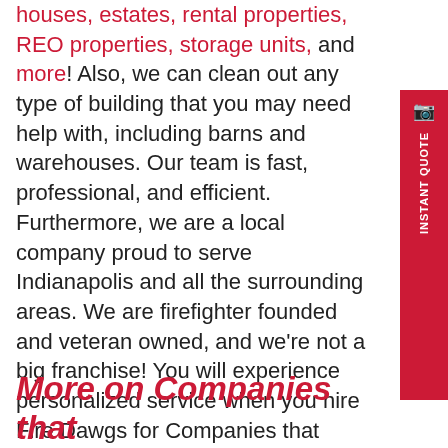houses, estates, rental properties, REO properties, storage units, and more! Also, we can clean out any type of building that you may need help with, including barns and warehouses. Our team is fast, professional, and efficient. Furthermore, we are a local company proud to serve Indianapolis and all the surrounding areas. We are firefighter founded and veteran owned, and we're not a big franchise! You will experience personalized service when you hire Fire Dawgs for Companies that Clean Out Homes in Indianapolis.
More on Companies that